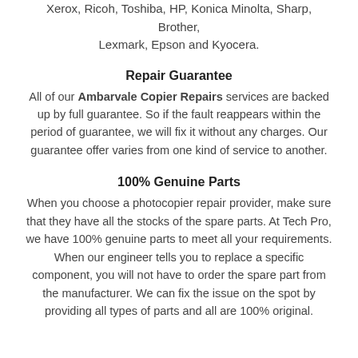Xerox, Ricoh, Toshiba, HP, Konica Minolta, Sharp, Brother, Lexmark, Epson and Kyocera.
Repair Guarantee
All of our Ambarvale Copier Repairs services are backed up by full guarantee. So if the fault reappears within the period of guarantee, we will fix it without any charges. Our guarantee offer varies from one kind of service to another.
100% Genuine Parts
When you choose a photocopier repair provider, make sure that they have all the stocks of the spare parts. At Tech Pro, we have 100% genuine parts to meet all your requirements. When our engineer tells you to replace a specific component, you will not have to order the spare part from the manufacturer. We can fix the issue on the spot by providing all types of parts and all are 100% original.